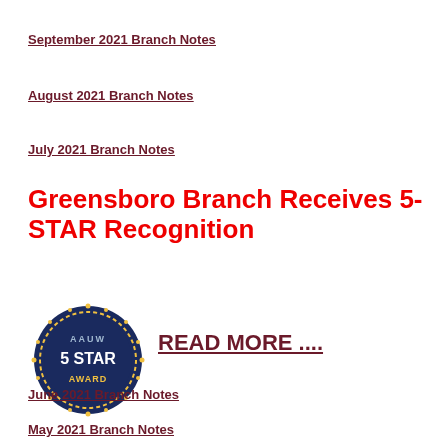September 2021 Branch Notes
August 2021 Branch Notes
July 2021 Branch Notes
Greensboro Branch Receives 5-STAR Recognition
[Figure (illustration): AAUW 5 STAR AWARD badge/seal — circular dark navy badge with gold dots on border and text AAUW / 5 STAR / AWARD in the center]
READ MORE ....
June 2021 Branch Notes
May 2021 Branch Notes